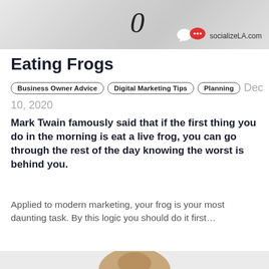[Figure (photo): Top banner image with marble/textured background and socializeLA.com logo with speech bubble icons, and stylized handwriting letter]
Eating Frogs
Business Owner Advice   Digital Marketing Tips   Planning   Dec 10, 2020
Mark Twain famously said that if the first thing you do in the morning is eat a live frog, you can go through the rest of the day knowing the worst is behind you.
Applied to modern marketing, your frog is your most daunting task. By this logic you should do it first...
Continue Reading...
[Figure (photo): Bottom portion of page showing top of a woman's head with dark hair against a light gray background]